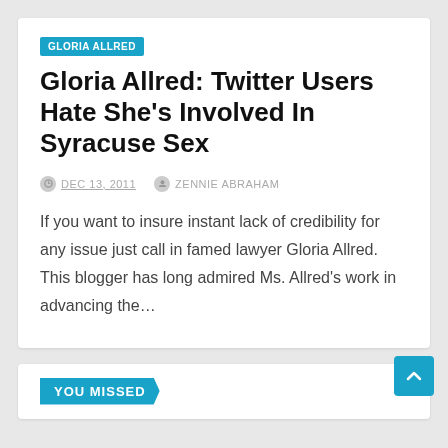GLORIA ALLRED
Gloria Allred: Twitter Users Hate She’s Involved In Syracuse Sex
DEC 13, 2011   ZENNIE ABRAHAM
If you want to insure instant lack of credibility for any issue just call in famed lawyer Gloria Allred. This blogger has long admired Ms. Allred’s work in advancing the…
YOU MISSED